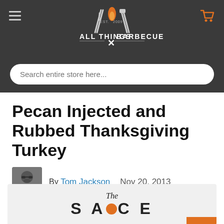All Things Barbecue - Est. 2009
Pecan Injected and Rubbed Thanksgiving Turkey
By Tom Jackson   Nov 20, 2013
[Figure (logo): The Sauce logo banner with stylized text]
[Figure (photo): Author avatar photo of Tom Jackson]